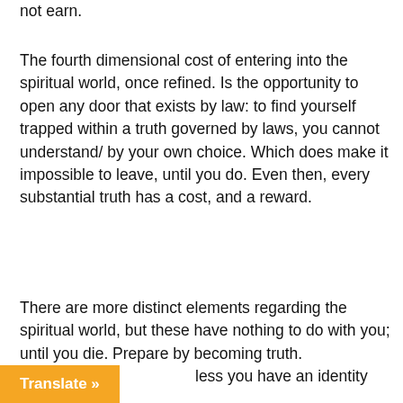not earn.
The fourth dimensional cost of entering into the spiritual world, once refined. Is the opportunity to open any door that exists by law: to find yourself trapped within a truth governed by laws, you cannot understand/ by your own choice. Which does make it impossible to leave, until you do. Even then, every substantial truth has a cost, and a reward.
There are more distinct elements regarding the spiritual world, but these have nothing to do with you; until you die. Prepare by becoming truth. ...less you have an identity that can